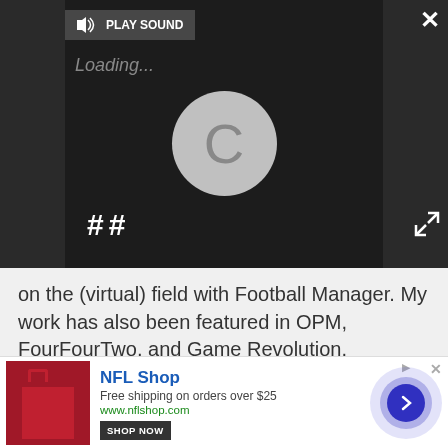[Figure (screenshot): Video player with dark background, loading spinner circle, pause button, PLAY SOUND bar, close X button, and expand arrows button]
on the (virtual) field with Football Manager. My work has also been featured in OPM, FourFourTwo, and Game Revolution.
MORE ABOUT JOKER
LATEST
[Figure (illustration): Illustration of the Joker character with green hair, purple suit, arms outstretched, holding a cane, colorful background]
[Figure (photo): Dark screenshot of a character in a shadowy outdoor environment]
[Figure (infographic): NFL Shop advertisement banner with red bag image, shop now button, and circular arrow navigation button]